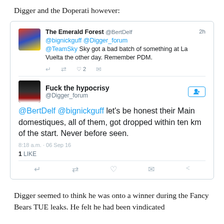Digger and the Doperati however:
[Figure (screenshot): Screenshot of two tweets. First tweet by 'The Emerald Forest @BertDelf 2h': '@bignickguff @Digger_forum @TeamSky Sky got a bad batch of something at La Vuelta the other day. Remember PDM.' with reply/retweet/like/dm icons. Second expanded tweet by 'Fuck the hypocrisy @Digger_forum' with a follow button: '@BertDelf @bignickguff let’s be honest their Main domestiques, all of them, got dropped within ten km of the start. Never before seen.' Time: 8:18 a.m. 06 Sep 16. 1 LIKE. With reply/retweet/heart/message/share icons.]
Digger seemed to think he was onto a winner during the Fancy Bears TUE leaks. He felt he had been vindicated